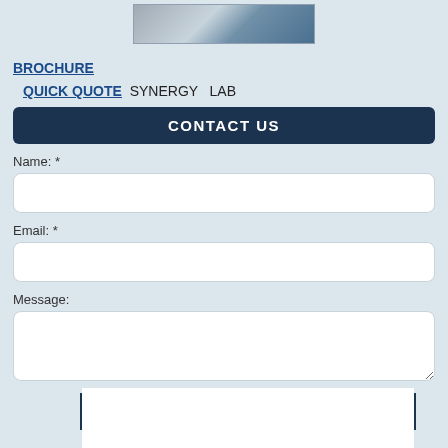[Figure (photo): Product image of a lab instrument/analyzer, partially visible at top of page]
BROCHURE
QUICK QUOTE SYNERGY LAB
CONTACT US
Name: *
Email: *
Message:
Send